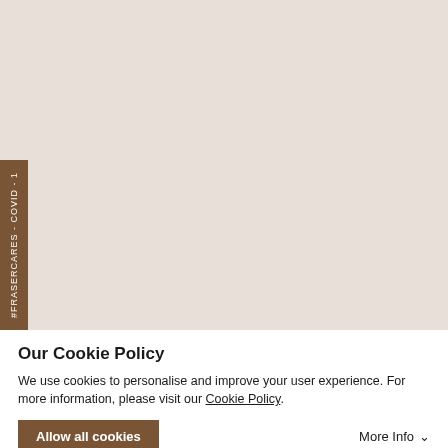[Figure (photo): Beige/cream colored background area representing a webpage header image with a brown vertical tab on the left side reading '#FRASERCARES - COVID - 1']
Our Cookie Policy
We use cookies to personalise and improve your user experience. For more information, please visit our Cookie Policy.
Allow all cookies
More Info